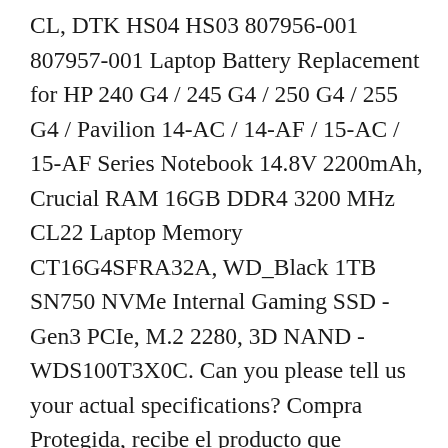CL, DTK HS04 HS03 807956-001 807957-001 Laptop Battery Replacement for HP 240 G4 / 245 G4 / 250 G4 / 255 G4 / Pavilion 14-AC / 14-AF / 15-AC / 15-AF Series Notebook 14.8V 2200mAh, Crucial RAM 16GB DDR4 3200 MHz CL22 Laptop Memory CT16G4SFRA32A, WD_Black 1TB SN750 NVMe Internal Gaming SSD - Gen3 PCIe, M.2 2280, 3D NAND - WDS100T3X0C. Can you please tell us your actual specifications? Compra Protegida, recibe el producto que esperabas o te devolvemos tu dinero. Battery 41Wh original suitable for HP 250 G5 series, Important and useful informations about laptop Selected expert knowledge prepared for you New Genuine DVD For Hp 250 G5 255 G5 Series